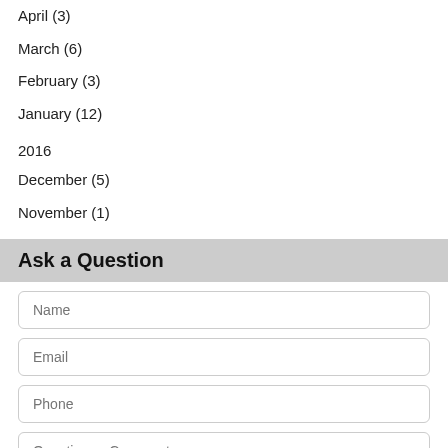April (3)
March (6)
February (3)
January (12)
2016
December (5)
November (1)
Ask a Question
Name
Email
Phone
Question or Comments